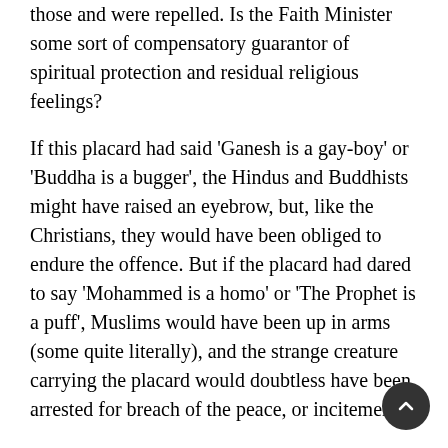those and were repelled. Is the Faith Minister some sort of compensatory guarantor of spiritual protection and residual religious feelings?
If this placard had said 'Ganesh is a gay-boy' or 'Buddha is a bugger', the Hindus and Buddhists might have raised an eyebrow, but, like the Christians, they would have been obliged to endure the offence. But if the placard had dared to say 'Mohammed is a homo' or 'The Prophet is a puff', Muslims would have been up in arms (some quite literally), and the strange creature carrying the placard would doubtless have been arrested for breach of the peace, or incitement.
When we lose the freedom to cause offence, we lose our freedom. In a post-Christian, pluralist, secularised culture, a faith minister would increasingly become a tool of fragmentation and atomisation, seeking to advocate for all and